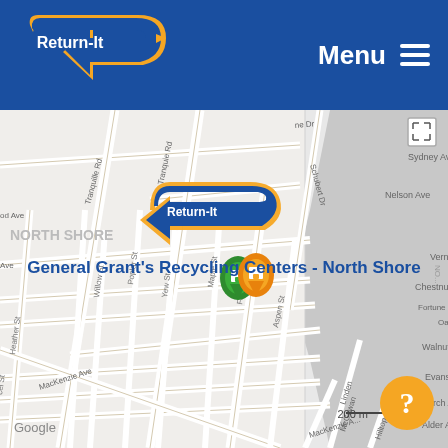[Figure (logo): Return-It logo: blue shield/arrow shape with white text 'Return-It' and orange arrow]
Menu ☰
[Figure (map): Google Map showing North Shore neighbourhood with streets: Tranquille Rd, Willow St, Poplar St, Yew St, Maple St, MacKenzie Ave, Heather St, Sydney Ave, Nelson Ave, Vernon Ave, Chestnut Ave, Fortune Dr/Fro, Oak Rd, Walnut Ave, Evans Ave, Birch Ave, Alder Ave, McGowan, Linden, Hilltop. A Return-It logo pin marks a location with green and orange map markers. Tooltip reads: General Grant's Recycling Centers - North Shore. Scale: 200m. Google watermark visible.]